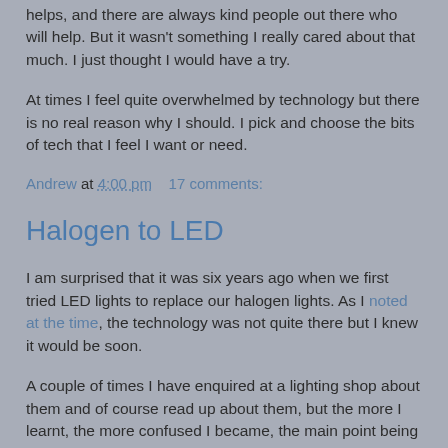helps, and there are always kind people out there who will help. But it wasn't something I really cared about that much. I just thought I would have a try.
At times I feel quite overwhelmed by technology but there is no real reason why I should. I pick and choose the bits of tech that I feel I want or need.
Andrew at 4:00 pm    17 comments:
Halogen to LED
I am surprised that it was six years ago when we first tried LED lights to replace our halogen lights. As I noted at the time, the technology was not quite there but I knew it would be soon.
A couple of times I have enquired at a lighting shop about them and of course read up about them, but the more I learnt, the more confused I became, the main point being do we need new transformers or not to put in LED lights. I